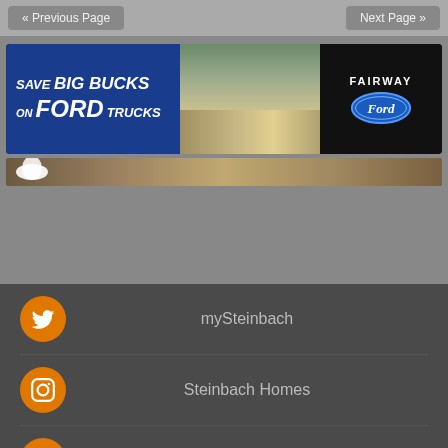« Previous Page    Next Page »
[Figure (illustration): Fairway Ford advertisement banner: 'SAVE BIG BUCKS ON FORD TRUCKS' on blue background with photo of trucks and Fairway Ford logo oval on black background]
[Figure (illustration): Secondary banner with wood-texture background and a bird logo on the left]
mySteinbach
Steinbach Homes
Steinbach Real Estate
Steinbach Jobs